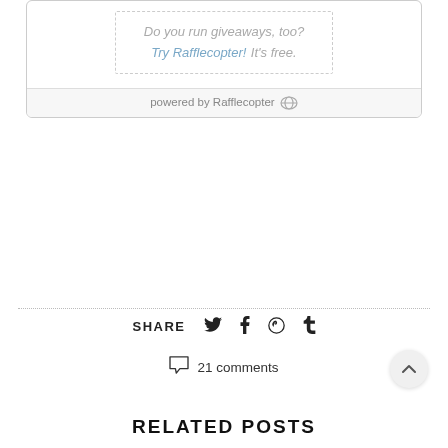Do you run giveaways, too? Try Rafflecopter! It's free.
powered by Rafflecopter
SHARE
21 comments
RELATED POSTS